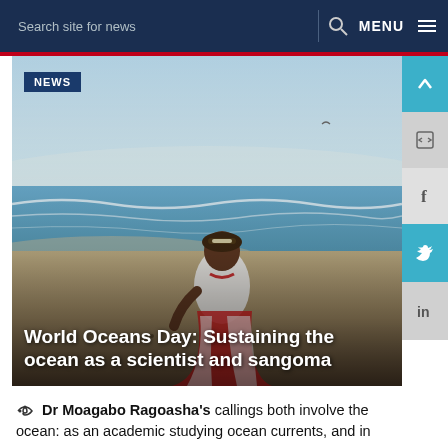Search site for news   MENU
[Figure (photo): A woman in traditional sangoma attire (white top, red and white decorative skirt, beaded headpiece and necklace) sitting on a beach with ocean waves behind her under a hazy sky.]
World Oceans Day: Sustaining the ocean as a scientist and sangoma
Dr Moagabo Ragoasha's callings both involve the ocean: as an academic studying ocean currents, and in